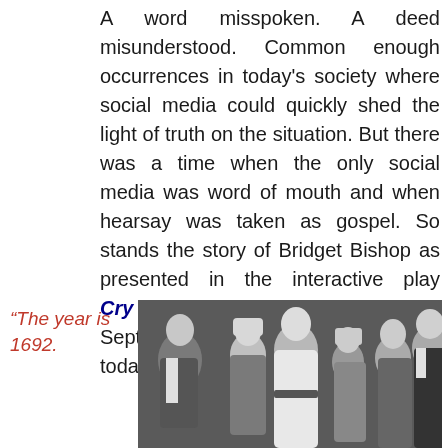A word misspoken. A deed misunderstood. Common enough occurrences in today's society where social media could quickly shed the light of truth on the situation. But there was a time when the only social media was word of mouth and when hearsay was taken as gospel. So stands the story of Bridget Bishop as presented in the interactive play Cry Innocent which begins its September season in Salem Ma today.
“The year is 1692.
[Figure (photo): Black and white photograph of actors in period costume (17th century Puritan-style clothing) from the interactive play Cry Innocent, depicting a scene with multiple figures including women in bonnets and men in dark period attire.]